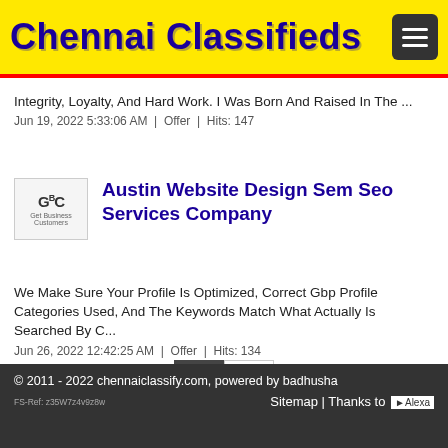Chennai Classifieds
Integrity, Loyalty, And Hard Work. I Was Born And Raised In The ...
Jun 19, 2022 5:33:06 AM  |  Offer  |  Hits: 147
Austin Website Design Sem Seo Services Company
We Make Sure Your Profile Is Optimized, Correct Gbp Profile Categories Used, And The Keywords Match What Actually Is Searched By C...
Jun 26, 2022 12:42:25 AM  |  Offer  |  Hits: 134
1  2
© 2011 - 2022 chennaiclassify.com, powered by badhusha
FS-Ref: z35W7z4v9z8w
Sitemap | Thanks to Alexa